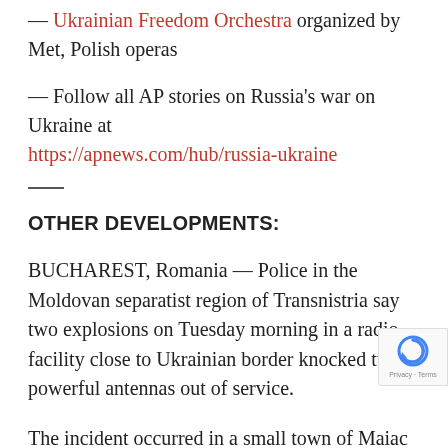— Ukrainian Freedom Orchestra organized by Met, Polish operas
— Follow all AP stories on Russia's war on Ukraine at https://apnews.com/hub/russia-ukraine
—
OTHER DEVELOPMENTS:
BUCHAREST, Romania — Police in the Moldovan separatist region of Transnistria say two explosions on Tuesday morning in a radio facility close to Ukrainian border knocked two powerful antennas out of service.
The incident occurred in a small town of Maiac roughly 11 kilometers (7 miles) west of the border with Ukraine, according to the region's Interior Ministry. It comes just a